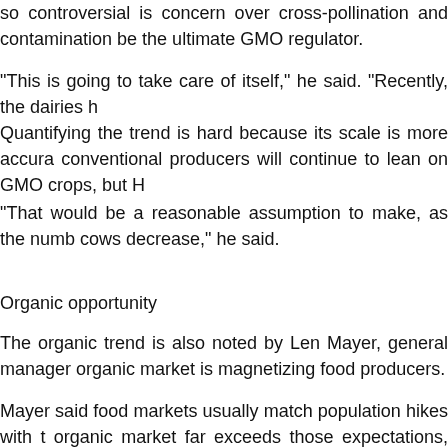so controversial is concern over cross-pollination and contamination be the ultimate GMO regulator.
"This is going to take care of itself," he said. "Recently, the dairies h
Quantifying the trend is hard because its scale is more accura conventional producers will continue to lean on GMO crops, but H
"That would be a reasonable assumption to make, as the numb cows decrease," he said.
Organic opportunity
The organic trend is also noted by Len Mayer, general manager organic market is magnetizing food producers.
Mayer said food markets usually match population hikes with t organic market far exceeds those expectations, seeing 15 to 20 pe